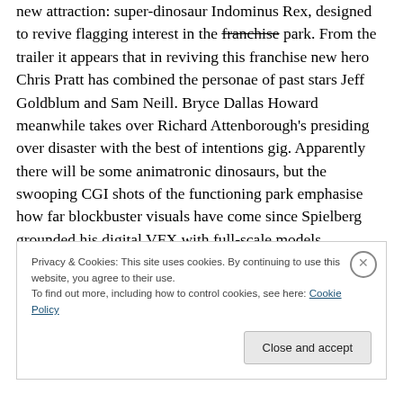new attraction: super-dinosaur Indominus Rex, designed to revive flagging interest in the franchise park. From the trailer it appears that in reviving this franchise new hero Chris Pratt has combined the personae of past stars Jeff Goldblum and Sam Neill. Bryce Dallas Howard meanwhile takes over Richard Attenborough's presiding over disaster with the best of intentions gig. Apparently there will be some animatronic dinosaurs, but the swooping CGI shots of the functioning park emphasise how far blockbuster visuals have come since Spielberg grounded his digital VFX with full-scale models.
Privacy & Cookies: This site uses cookies. By continuing to use this website, you agree to their use.
To find out more, including how to control cookies, see here: Cookie Policy